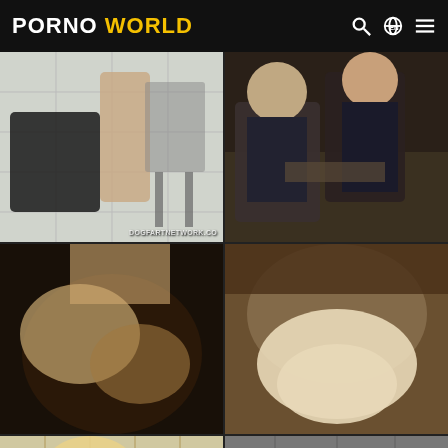PORNO WORLD
[Figure (photo): Grid of 6 video thumbnails from adult content website]